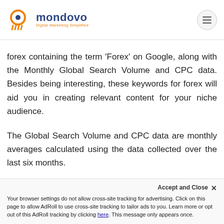mondovo — Digital Marketing Simplified
forex containing the term 'Forex' on Google, along with the Monthly Global Search Volume and CPC data. Besides being interesting, these keywords for forex will aid you in creating relevant content for your niche audience.
The Global Search Volume and CPC data are monthly averages calculated using the data collected over the last six months.
List Of Most Widely Used
Accept and Close ✕
Your browser settings do not allow cross-site tracking for advertising. Click on this page to allow AdRoll to use cross-site tracking to tailor ads to you. Learn more or opt out of this AdRoll tracking by clicking here. This message only appears once.